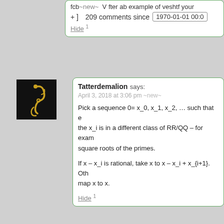fcb... ~new~ ... V fter ab example of veshtf your
+ ]  209 comments since   1970-01-01 00:0
Hide 1
Tatterdemalion says:
April 3, 2018 at 3:06 pm ~new~
Pick a sequence 0= x_0, x_1, x_2, … such that each the x_i is in a different class of RR/QQ – for example square roots of the primes.
If x – x_i is rational, take x to x – x_i + x_{i+1}. Otherwise map x to x.
Hide 1
roastingcanopus says:
April 1, 2018 at 6:56 pm ~new~
Do people who've taken the Giving What We Can pledge plan on giving much more than 10%? I save a lot more than 10% ev...